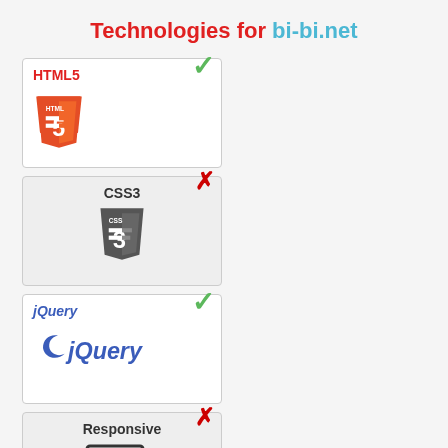Technologies for bi-bi.net
[Figure (infographic): HTML5 technology card with green checkmark and HTML5 shield logo]
[Figure (infographic): CSS3 technology card with red X mark and CSS3 shield logo]
[Figure (infographic): jQuery technology card with green checkmark and jQuery logo]
[Figure (infographic): Responsive technology card with red X mark and responsive devices icon]
RATE (Update Weekly)
% 98
HTML size of bi-bi.net